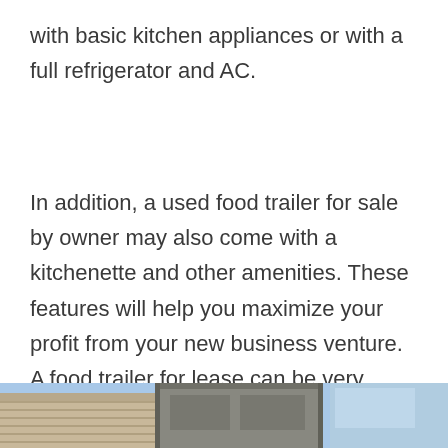with basic kitchen appliances or with a full refrigerator and AC.
In addition, a used food trailer for sale by owner may also come with a kitchenette and other amenities. These features will help you maximize your profit from your new business venture. A food trailer for lease can be very beneficial if you plan on distributing your products throughout a large area.
[Figure (photo): Partial view of a building exterior with a blue sky, showing the bottom portion of the image cropped.]